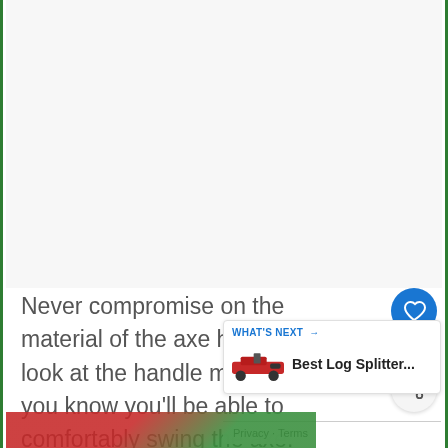[Figure (photo): Large light gray empty area at the top of the page, serving as a placeholder for an image.]
Never compromise on the material of the axe head, but look at the handle material so you know you'll be able to comfortably swing the axe.
[Figure (screenshot): UI overlay showing a blue heart/like button with count 4, a share button, a 'WHAT'S NEXT' promo box for 'Best Log Splitter...' with a red log splitter image, and a Privacy/Terms bar.]
[Figure (photo): Partial image at very bottom of page showing red and green colors, likely a photo of a log splitter or axe.]